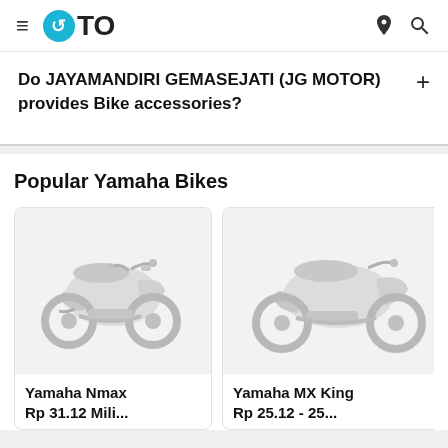OTO
Do JAYAMANDIRI GEMASEJATI (JG MOTOR) provides Bike accessories?
Popular Yamaha Bikes
[Figure (photo): Yamaha Nmax scooter bike product image on light grey background]
Yamaha Nmax
Rp 31.12 Mili...
[Figure (photo): Yamaha MX King scooter bike product image on light grey background (partially visible)]
Yamaha MX King
Rp 25.12 - 25...